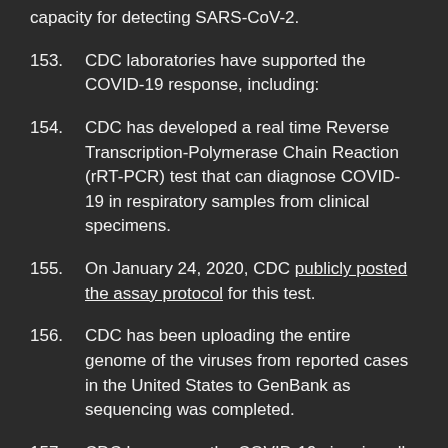capacity for detecting SARS-CoV-2.
153.    CDC laboratories have supported the COVID-19 response, including:
154.    CDC has developed a real time Reverse Transcription-Polymerase Chain Reaction (rRT-PCR) test that can diagnose COVID-19 in respiratory samples from clinical specimens.
155.    On January 24, 2020, CDC publicly posted the assay protocol for this test.
156.    CDC has been uploading the entire genome of the viruses from reported cases in the United States to GenBank as sequencing was completed.
157.    CDC has grown the COVID-19 virus in cell culture,